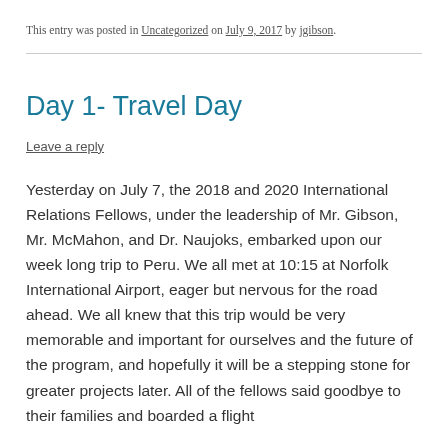This entry was posted in Uncategorized on July 9, 2017 by jgibson.
Day 1- Travel Day
Leave a reply
Yesterday on July 7, the 2018 and 2020 International Relations Fellows, under the leadership of Mr. Gibson, Mr. McMahon, and Dr. Naujoks, embarked upon our week long trip to Peru. We all met at 10:15 at Norfolk International Airport, eager but nervous for the road ahead. We all knew that this trip would be very memorable and important for ourselves and the future of the program, and hopefully it will be a stepping stone for greater projects later. All of the fellows said goodbye to their families and boarded a flight